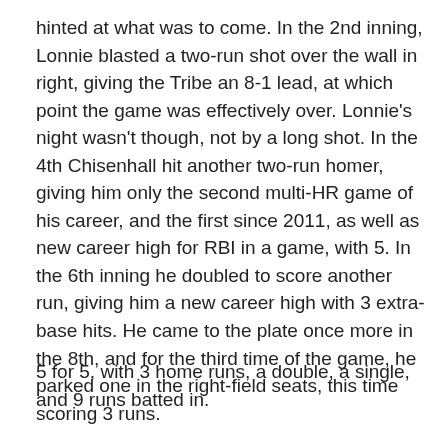hinted at what was to come. In the 2nd inning, Lonnie blasted a two-run shot over the wall in right, giving the Tribe an 8-1 lead, at which point the game was effectively over. Lonnie's night wasn't though, not by a long shot. In the 4th Chisenhall hit another two-run homer, giving him only the second multi-HR game of his career, and the first since 2011, as well as new career high for RBI in a game, with 5. In the 6th inning he doubled to score another run, giving him a new career high with 3 extra-base hits. He came to the plate once more in the 8th, and for the third time of the game, he parked one in the right-field seats, this time scoring 3 runs.
5 for 5, with 3 home runs, a double, a single, and 9 runs batted in.